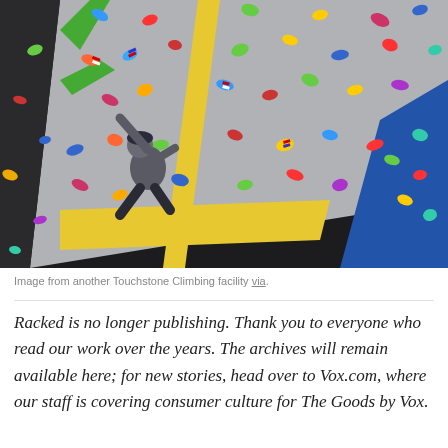[Figure (photo): A person climbing a large indoor bouldering wall covered with colorful holds (red, blue, green, yellow, teal, orange). The wall is bright gray with yellow accent stripes. The climber is wearing dark pants, a gray hoodie, and a dark beanie, reaching up with one arm. The photo is taken from a dramatic low angle. The gym interior is dark around the edges.]
Image from another Touchstone Climbing facility via.
Racked is no longer publishing. Thank you to everyone who read our work over the years. The archives will remain available here; for new stories, head over to Vox.com, where our staff is covering consumer culture for The Goods by Vox.